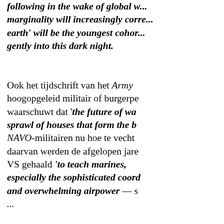following in the wake of global w... marginality will increasingly corre... earth' will be the youngest cohor... gently into this dark night.
Ook het tijdschrift van het Army ... hoogopgeleid militair of burgerpe... waarschuwt dat 'the future of we... sprawl of houses that form the b... NAVO-militairen nu hoe te vecht... daarvan werden de afgelopen jare... VS gehaald 'to teach marines, especially the sophisticated coord... and overwhelming airpower — se...